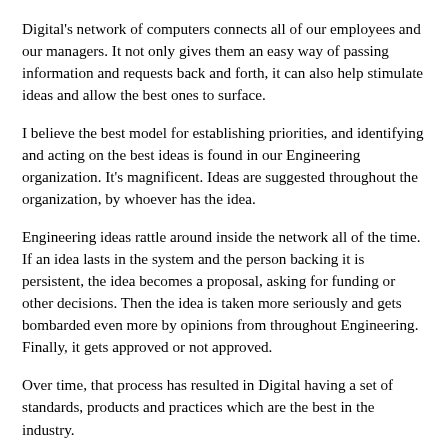Digital's network of computers connects all of our employees and our managers. It not only gives them an easy way of passing information and requests back and forth, it can also help stimulate ideas and allow the best ones to surface.
I believe the best model for establishing priorities, and identifying and acting on the best ideas is found in our Engineering organization. It's magnificent. Ideas are suggested throughout the organization, by whoever has the idea.
Engineering ideas rattle around inside the network all of the time. If an idea lasts in the system and the person backing it is persistent, the idea becomes a proposal, asking for funding or other decisions. Then the idea is taken more seriously and gets bombarded even more by opinions from throughout Engineering. Finally, it gets approved or not approved.
Over time, that process has resulted in Digital having a set of standards, products and practices which are the best in the industry.
How did we get the best product line in the industry from such a seemingly chaotic process? It's the free flow of ideas. Good ideas move ahead based on their merit, and they rise to the top of the pile. Top level engineering managers did not impose these